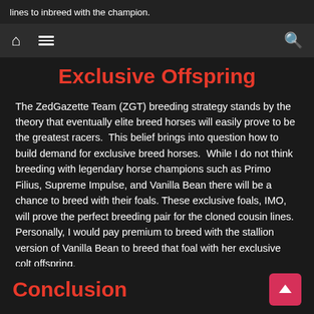lines to inbreed with the champion.
Exclusive Offspring
The ZedGazette Team (ZGT) breeding strategy stands by the theory that eventually elite breed horses will easily prove to be the greatest racers.  This belief brings into question how to build demand for exclusive breed horses.  While I do not think breeding with legendary horse champions such as Primo Filius, Supreme Impulse, and Vanilla Bean there will be a chance to breed with their foals. These exclusive foals, IMO, will prove the perfect breeding pair for the cloned cousin lines.  Personally, I would pay premium to breed with the stallion version of Vanilla Bean to breed that foal with her exclusive colt offspring.
Conclusion